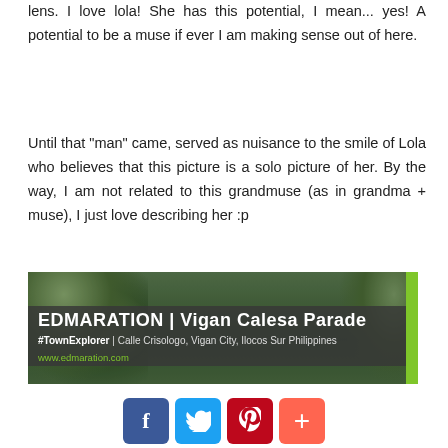lens. I love lola! She has this potential, I mean... yes! A potential to be a muse if ever I am making sense out of here.
Until that "man" came, served as nuisance to the smile of Lola who believes that this picture is a solo picture of her. By the way, I am not related to this grandmuse (as in grandma + muse), I just love describing her :p
[Figure (photo): Banner image showing trees in background with dark overlay strip. Text reads: EDMARATION | Vigan Calesa Parade #TownExplorer | Calle Crisologo, Vigan City, Ilocos Sur Philippines www.edmaration.com]
[Figure (infographic): Social sharing buttons: Facebook (blue), Twitter (light blue), Pinterest (red), Plus/share (orange-red)]